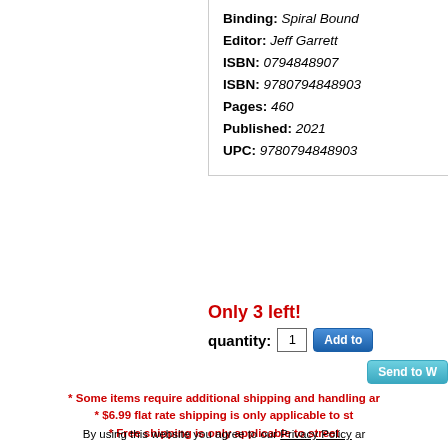Binding: Spiral Bound
Editor: Jeff Garrett
ISBN: 0794848907
ISBN: 9780794848903
Pages: 460
Published: 2021
UPC: 9780794848903
Only 3 left!
quantity: 1
* Some items require additional shipping and handling ar
* $6.99 flat rate shipping is only applicable to st
* Free shipping is only applicable to street
By using this website you agree to our Privacy Policy ar